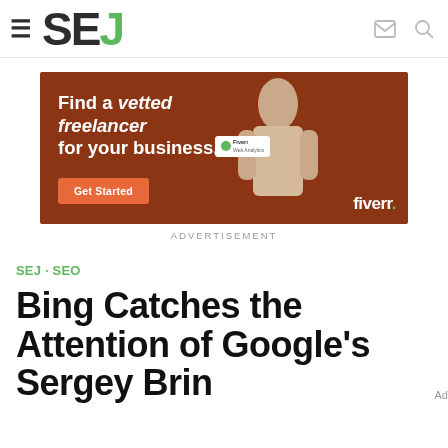SEJ
[Figure (photo): Fiverr advertisement banner on rust/brown background. Text reads: 'Find a vetted freelancer for your business.' with a Get Started button and a woman posing with arms crossed. Fiverr logo bottom right.]
ADVERTISEMENT
SEJ · SEO
Bing Catches the Attention of Google's Sergey Brin